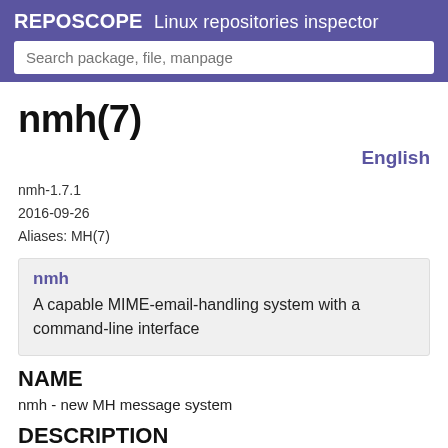REPOSCOPE  Linux repositories inspector
nmh(7)
English
nmh-1.7.1
2016-09-26
Aliases: MH(7)
nmh
A capable MIME-email-handling system with a command-line interface
NAME
nmh - new MH message system
DESCRIPTION
nmh is the name of a powerful message handling system.